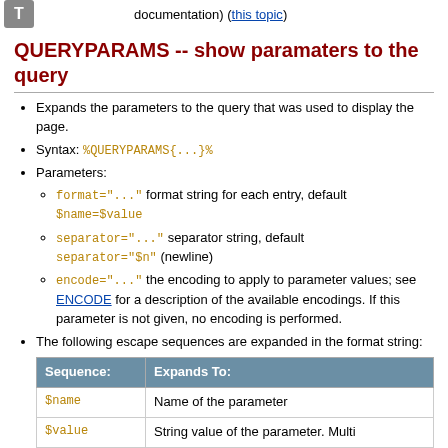documentation) (this topic)
QUERYPARAMS -- show paramaters to the query
Expands the parameters to the query that was used to display the page.
Syntax: %QUERYPARAMS{...}%
Parameters: format="..." format string for each entry, default $name=$value; separator="..." separator string, default separator="$n" (newline); encode="..." the encoding to apply to parameter values; see ENCODE for a description of the available encodings. If this parameter is not given, no encoding is performed.
The following escape sequences are expanded in the format string:
| Sequence: | Expands To: |
| --- | --- |
| $name | Name of the parameter |
| $value | String value of the parameter. Multi |